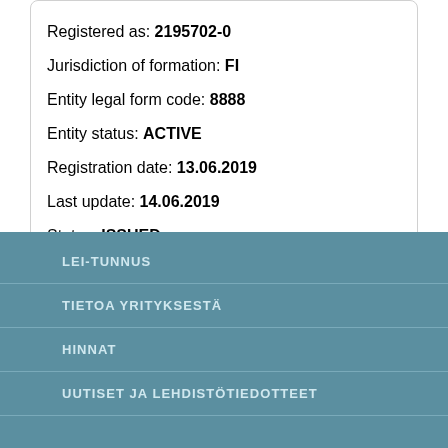Registered as: 2195702-0
Jurisdiction of formation: FI
Entity legal form code: 8888
Entity status: ACTIVE
Registration date: 13.06.2019
Last update: 14.06.2019
Status: ISSUED
Next renewal: 13.06.2020
Lei issuer: 74370000802N3TQKJC81
Corroboration level: FULLY_CORROBORATED
Data validated at (id): RA000188
LEI-TUNNUS
TIETOA YRITYKSESTÄ
HINNAT
UUTISET JA LEHDISTÖTIEDOTTEET